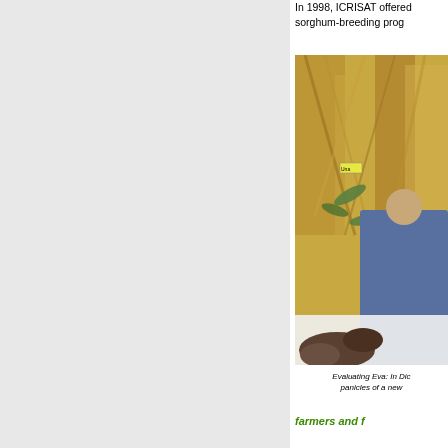In 1998, ICRISAT offered sorghum-breeding prog
[Figure (photo): A person crouching in a sorghum field examining panicles, with a small label marker reading 'Una' visible among the dry golden stalks. Sorghum panicles visible in foreground.]
Evaluating Eva: In Dic panicles of a new
farmers and f